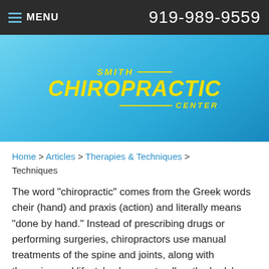MENU   919-989-9559
[Figure (logo): Smith Chiropractic Center logo in yellow italic text on blue gradient background]
Home > Articles > Therapies & Techniques > Techniques
The word "chiropractic" comes from the Greek words cheir (hand) and praxis (action) and literally means "done by hand." Instead of prescribing drugs or performing surgeries, chiropractors use manual treatments of the spine and joints, along with therapies and lifestyle changes to allow the body's natural state of health  Here are